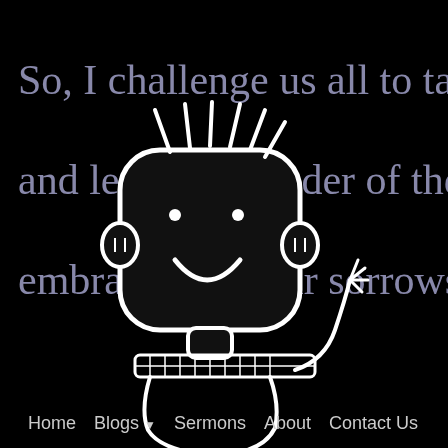So, I challenge us all to take some time du and let the reminder of the sacrifice of Jesu embrace us in our sorrows and lift us in th
[Figure (illustration): Black and white cartoon illustration of a simple cartoon character with spiky hair, round head with dot eyes and a U-shaped smile, wearing a checkered scarf, drawn in a chalk/sketch style on black background]
Home   Blogs ▼   Sermons   About   Contact Us